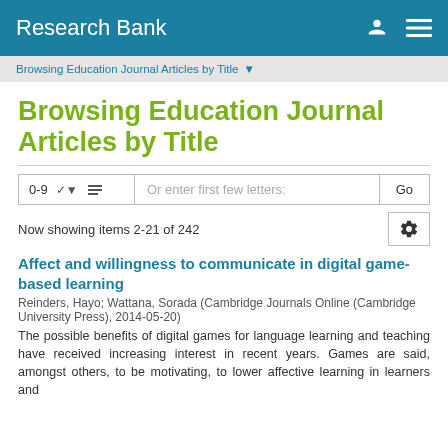Research Bank
Browsing Education Journal Articles by Title
Browsing Education Journal Articles by Title
Now showing items 2-21 of 242
Affect and willingness to communicate in digital game-based learning
Reinders, Hayo; Wattana, Sorada (Cambridge Journals Online (Cambridge University Press), 2014-05-20)
The possible benefits of digital games for language learning and teaching have received increasing interest in recent years. Games are said, amongst others, to be motivating, to lower affective learning inlearners and ...